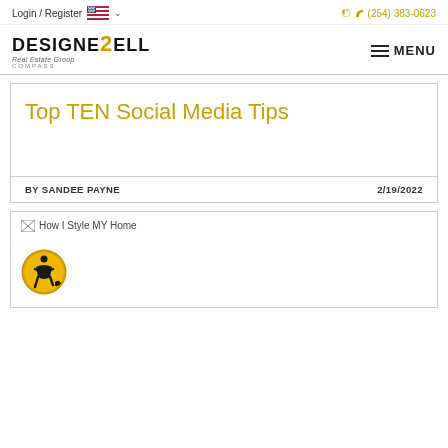Login / Register  (254) 383-0623
[Figure (logo): Designed2Sell logo with Real Estate Group Compass branding and hamburger menu button]
Top TEN Social Media Tips
BY SANDEE PAYNE   2/19/2022
[Figure (photo): Broken image placeholder labelled 'How I Style MY Home' with accessibility icon badge]